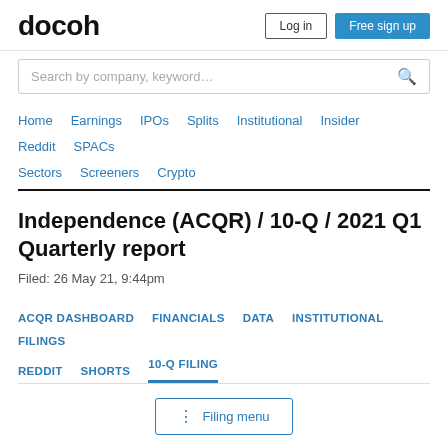docoh  Log in  Free sign up
Search by company, keyword…
Home  Earnings  IPOs  Splits  Institutional  Insider  Reddit  SPACs  Sectors  Screeners  Crypto
Independence (ACQR) / 10-Q / 2021 Q1 Quarterly report
Filed: 26 May 21, 9:44pm
ACQR DASHBOARD  FINANCIALS  DATA  INSTITUTIONAL  FILINGS  REDDIT  SHORTS  10-Q FILING
⋮ Filing menu